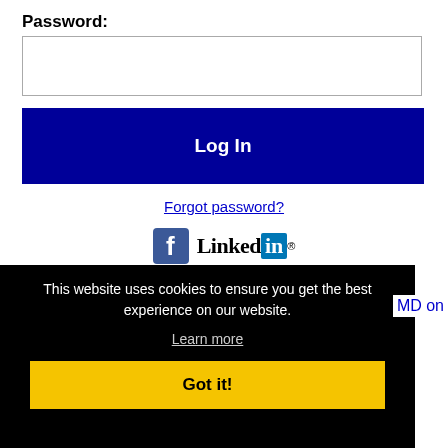Password:
[Figure (screenshot): Password input field (empty text box)]
Log In
Forgot password?
[Figure (logo): Facebook logo icon and LinkedIn logo]
This website uses cookies to ensure you get the best experience on our website.
Learn more
Got it!
MD on